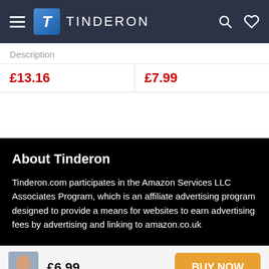TINDERON
Description
£13.16
£7.99
About Tinderon
Tinderon.com participates in the Amazon Services LLC Associates Program, which is an affiliate advertising program designed to provide a means for websites to earn advertising fees by advertising and linking to amazon.co.uk
£6.99
BUY NOW